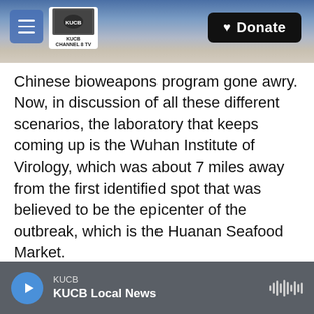KUCB Channel 8 TV — Donate
Chinese bioweapons program gone awry. Now, in discussion of all these different scenarios, the laboratory that keeps coming up is the Wuhan Institute of Virology, which was about 7 miles away from the first identified spot that was believed to be the epicenter of the outbreak, which is the Huanan Seafood Market.
The Wuhan Institute of Virology is China's foremost coronavirus research facility. It contains one of the world's largest repository of bat samples and has a database of about 22,000 viral samples, which was taken offline just prior to the pandemic. And we can
KUCB — KUCB Local News